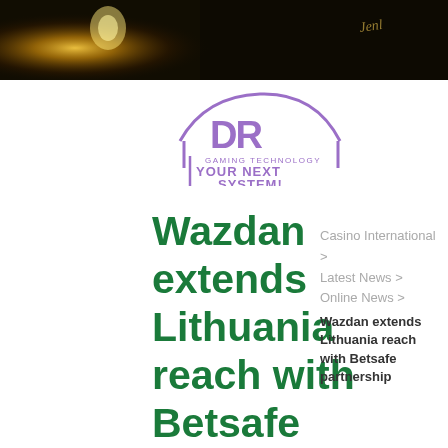[Figure (photo): Dark banner image with a glowing golden light source on the left and a signature/text on the right, dark background]
[Figure (logo): DR Gaming Technology logo - purple/violet stylized letters DR with curved lines and text 'GAMING TECHNOLOGY YOUR NEXT SYSTEM!']
Wazdan extends Lithuania reach with Betsafe partnership
Casino International >
Latest News >
Online News >
Wazdan extends Lithuania reach with Betsafe partnership